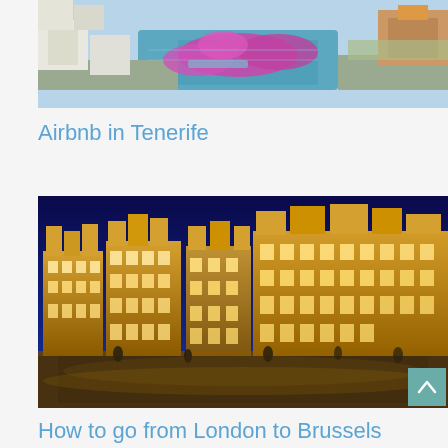[Figure (photo): Aerial view of Tenerife coastal town with white buildings, purple bougainvillea flowers, and turquoise harbor water]
Airbnb in Tenerife
[Figure (photo): Night view of Grand Place Brussels with illuminated ornate golden guild buildings against a deep blue sky, people in the square]
How to go from London to Brussels